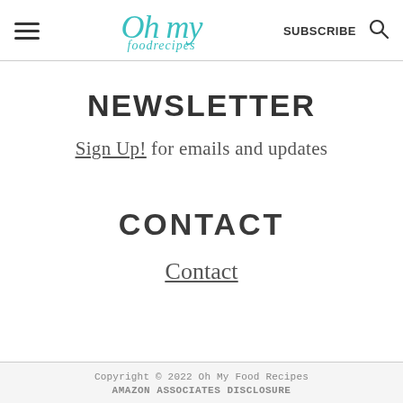Oh my foodrecipes | SUBSCRIBE
NEWSLETTER
Sign Up! for emails and updates
CONTACT
Contact
Copyright © 2022 Oh My Food Recipes
AMAZON ASSOCIATES DISCLOSURE